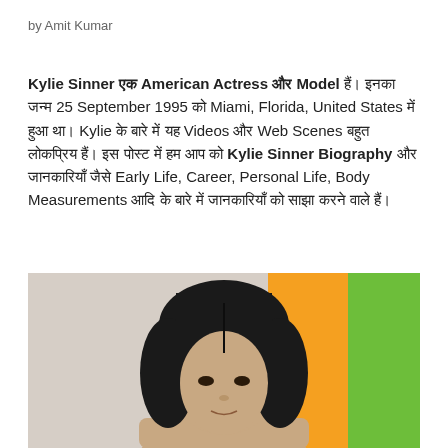by Amit Kumar
Kylie Sinner एक American Actress और Model हैं। इनका जन्म 25 September 1995 को Miami, Florida, United States में हुआ था। Kylie के बारे में यह Videos और Web Scenes बहुत लोकप्रिय हैं। इस पोस्ट में हम आप को Kylie Sinner Biography और जानकारियाँ जैसे Early Life, Career, Personal Life, Body Measurements आदि के बारे में जानकारियाँ को साझा करने वाले हैं।
[Figure (photo): Photo of a woman with dark hair against a colorful orange and green background]